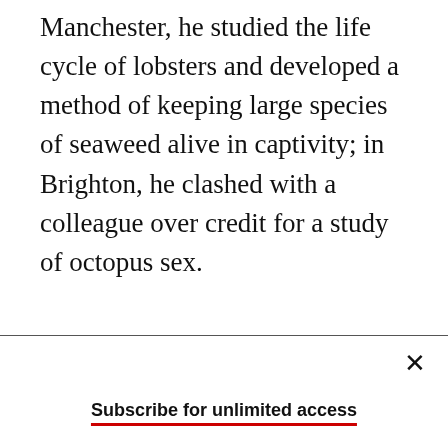Manchester, he studied the life cycle of lobsters and developed a method of keeping large species of seaweed alive in captivity; in Brighton, he clashed with a colleague over credit for a study of octopus sex.
Subscribe for unlimited access